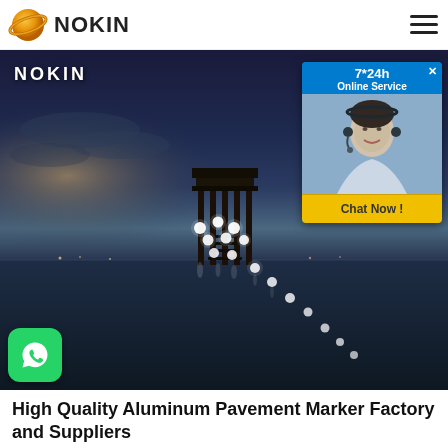NOKIN
[Figure (photo): Night scene photograph showing a pier or dock extending into calm water with glowing white LED pavement markers lining a path, dark blue-purple sky with horizon light, 'NOKIN' watermark in top-left corner, customer service chat widget in top-right showing a woman with headset and 'Chat Now!' button, WhatsApp icon in bottom-left]
High Quality Aluminum Pavement Marker Factory and Suppliers